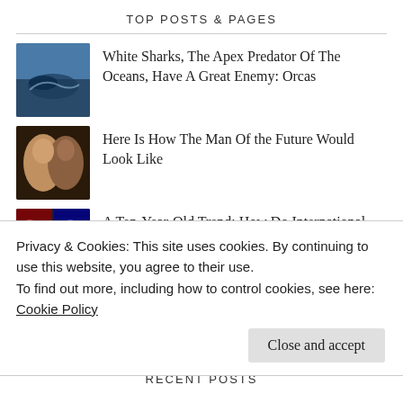TOP POSTS & PAGES
White Sharks, The Apex Predator Of The Oceans, Have A Great Enemy: Orcas
Here Is How The Man Of the Future Would Look Like
A Ten-Year-Old Trend: How Do International Students Contribute to the U.S. Economy?
Scientists Are Close To Imaging A Black Hole Shadow...
Privacy & Cookies: This site uses cookies. By continuing to use this website, you agree to their use.
To find out more, including how to control cookies, see here: Cookie Policy
RECENT POSTS